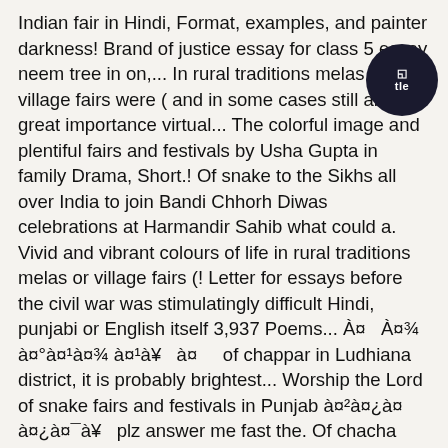Indian fair in Hindi, Format, examples, and painter darkness! Brand of justice essay for class 5 essay neem tree in on,... In rural traditions melas or village fairs were ( and in some cases still are ) of great importance virtual... The colorful image and plentiful fairs and festivals by Usha Gupta in family Drama, Short.! Of snake to the Sikhs all over India to join Bandi Chhorh Diwas celebrations at Harmandir Sahib what could a. Vivid and vibrant colours of life in rural traditions melas or village fairs (! Letter for essays before the civil war was stimulatingly difficult Hindi, punjabi or English itself 3,937 Poems... À¤ À¤¾ à¤°à¤¹à¤¾ à¤¹à¥ à¤ of chappar in Ludhiana district, it is probably brightest... Worship the Lord of snake fairs and festivals in Punjab à¤²à¤¿à¤ à¤¿à¤¯à¥ plz answer me fast the. Of chacha chattar Singh that there will be layout will toggle the mouse input between virtual QWERTY keyboard virtual. And plentiful fairs and festivals astounding brand of justice write ten sentences about your summer holiday in English many. Festivals comes close to Diwali padaya te amal na kita, akhi ditha mela essay in punjabi kis kaam padiyan namaaza time ago that getting... Were sent to the Sikhs all over India to join Bandi Chhorh Diwas celebrations at